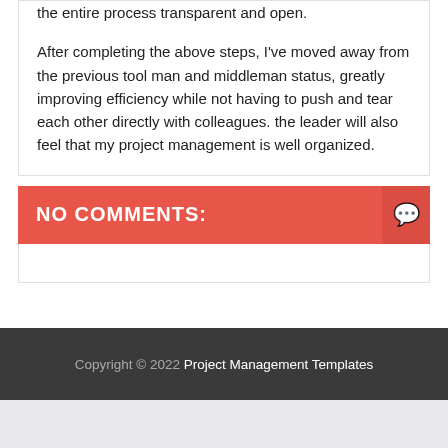the entire process transparent and open.
After completing the above steps, I've moved away from the previous tool man and middleman status, greatly improving efficiency while not having to push and tear each other directly with colleagues. the leader will also feel that my project management is well organized.
NO COMMENTS:
Copyright © 2022 Project Management Templates